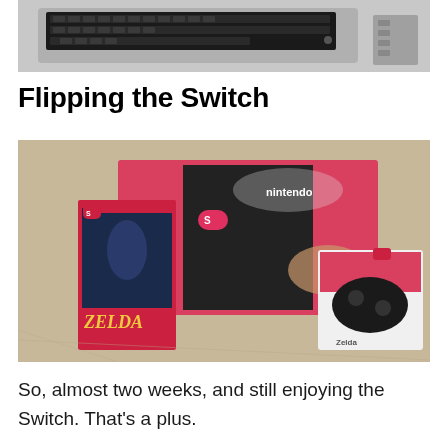[Figure (photo): Partial top view of a vintage computer keyboard/console, gray color, showing keys and top edge, cropped at the bottom]
Flipping the Switch
[Figure (photo): Photo of Nintendo Switch console box (red/black packaging), a Zelda Breath of the Wild game case, and a Zelda-branded wired controller box, all sitting on carpet]
So, almost two weeks, and still enjoying the Switch. That's a plus.